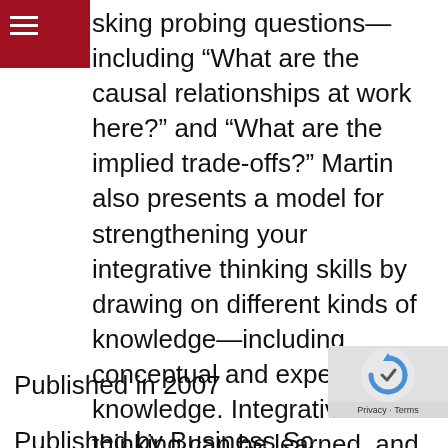≡
sking probing questions—including “What are the causal relationships at work here?” and “What are the implied trade-offs?” Martin also presents a model for strengthening your integrative thinking skills by drawing on different kinds of knowledge—including conceptual and experiential knowledge. Integrative thinking can be learned, and The Opposable Mind helps you master this vital skill.
Published in 2007
Published by Harvard Business School Press